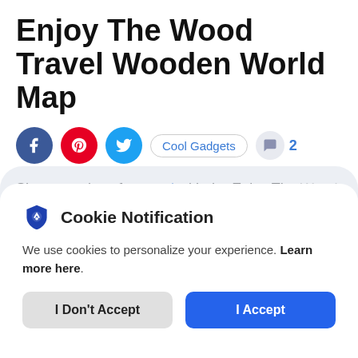Enjoy The Wood Travel Wooden World Map
[Figure (other): Social sharing icons row: Facebook (blue circle), Pinterest (red circle), Twitter (cyan circle), Cool Gadgets tag pill, comment icon with number 2]
Show your love for travel with the Enjoy The Wood Travel Wooden World Map. Travel Wooden World Map is a unique wooden wall
[Figure (infographic): Cookie Notification modal overlay with shield icon, text about cookies, I Don't Accept and I Accept buttons]